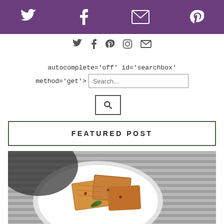[Figure (screenshot): Purple top navigation bar with white social media icons: Twitter bird, Facebook f, email envelope, Pinterest P]
[Figure (screenshot): Secondary icon row with social media icons in grey: Twitter, Facebook, Pinterest, Instagram, Email]
autocomplete='off' id='searchbox' method='get'>
[Figure (screenshot): Search input field showing placeholder text 'Search...' with a search button (magnifying glass icon) below]
FEATURED POST
[Figure (photo): Food photo showing toasted bread or waffle pieces on a white plate, with a garnish leaf, on a grey textured background]